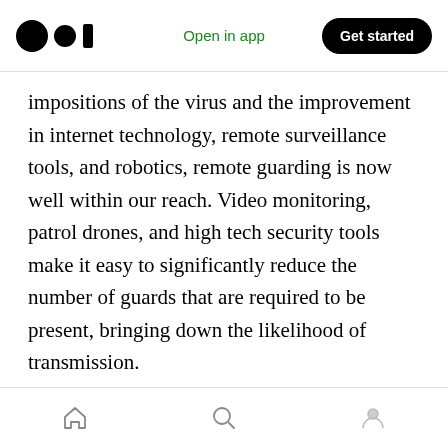Medium app header — Open in app | Get started
impositions of the virus and the improvement in internet technology, remote surveillance tools, and robotics, remote guarding is now well within our reach. Video monitoring, patrol drones, and high tech security tools make it easy to significantly reduce the number of guards that are required to be present, bringing down the likelihood of transmission.
Redundancy: Despite the best of measures, it is inevitable that a certain percentage of security guards in California will fall sick. If
Bottom navigation bar — Home | Search | Profile